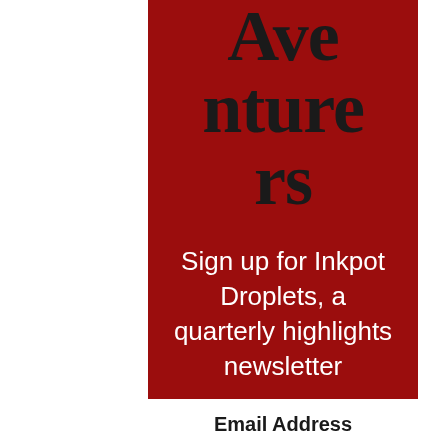Adventurers
Sign up for Inkpot Droplets, a quarterly highlights newsletter
.
Email Address